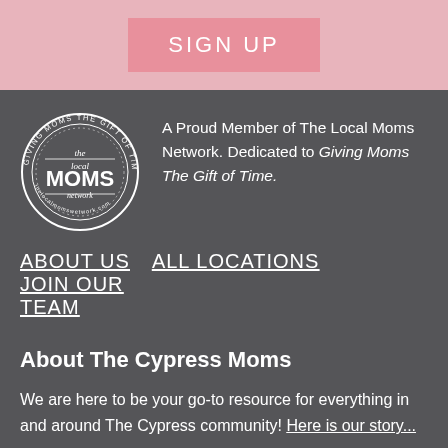SIGN UP
[Figure (logo): The Local Moms Network circular logo with text 'GIVING MOMS THE GIFT OF TIME' around the border and 'the local MOMS network' in the center]
A Proud Member of The Local Moms Network. Dedicated to Giving Moms The Gift of Time.
ABOUT US    ALL LOCATIONS    JOIN OUR TEAM
About The Cypress Moms
We are here to be your go-to resource for everything in and around The Cypress community! Here is our story...